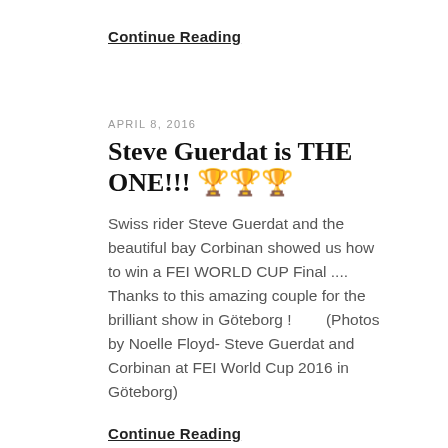Continue Reading
APRIL 8, 2016
Steve Guerdat is THE ONE!!! 🏆🏆🏆
Swiss rider Steve Guerdat and the beautiful bay Corbinan showed us how to win a FEI WORLD CUP Final .... Thanks to this amazing couple for the brilliant show in Göteborg !        (Photos by Noelle Floyd- Steve Guerdat and Corbinan at FEI World Cup 2016 in Göteborg)
Continue Reading